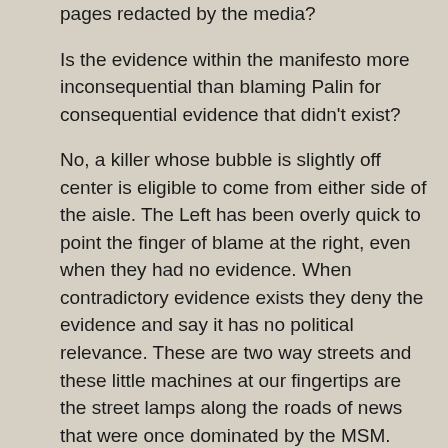pages redacted by the media?
Is the evidence within the manifesto more inconsequential than blaming Palin for consequential evidence that didn't exist?
No, a killer whose bubble is slightly off center is eligible to come from either side of the aisle. The Left has been overly quick to point the finger of blame at the right, even when they had no evidence. When contradictory evidence exists they deny the evidence and say it has no political relevance. These are two way streets and these little machines at our fingertips are the street lamps along the roads of news that were once dominated by the MSM.